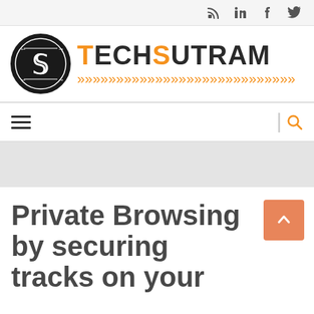Social icons: RSS, LinkedIn, Facebook, Twitter
[Figure (logo): TechSutram logo with circular TS monogram and orange chevron arrows]
[Figure (infographic): Navigation bar with hamburger menu icon and search icon]
Private Browsing by securing tracks on your